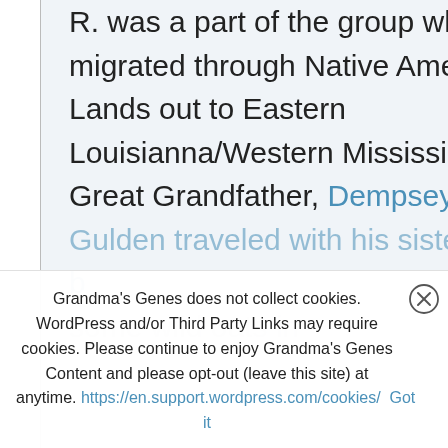R. was a part of the group who migrated through Native American Lands out to Eastern Louisianna/Western Mississippi. My 3rd Great Grandfather, Dempsey Gulden traveled with his sister and her b... some wild oats in
Grandma's Genes does not collect cookies. WordPress and/or Third Party Links may require cookies. Please continue to enjoy Grandma's Genes Content and please opt-out (leave this site) at anytime. https://en.support.wordpress.com/cookies/ Got it